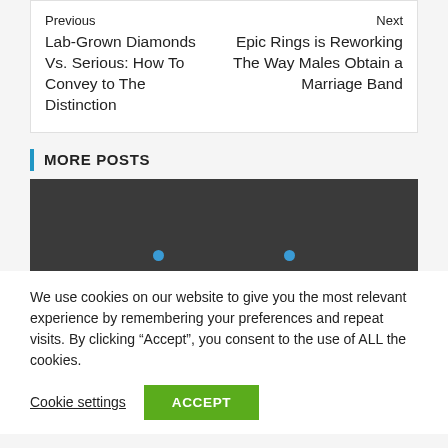Previous
Lab-Grown Diamonds Vs. Serious: How To Convey to The Distinction
Next
Epic Rings is Reworking The Way Males Obtain a Marriage Band
MORE POSTS
[Figure (other): Dark carousel image placeholder with two blue dots at the bottom indicating carousel navigation]
We use cookies on our website to give you the most relevant experience by remembering your preferences and repeat visits. By clicking “Accept”, you consent to the use of ALL the cookies.
Cookie settings
ACCEPT